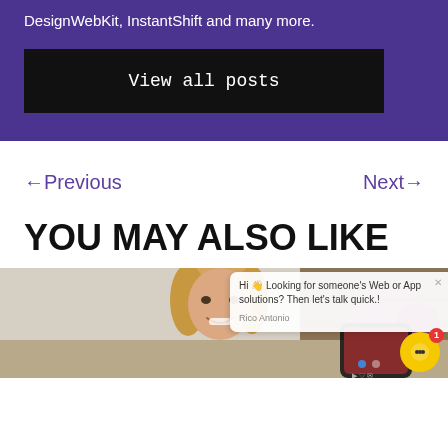DesignWebKit, InstantShift and many more.
View all posts
←Previous
Next→
YOU MAY ALSO LIKE
[Figure (photo): Woman smiling with a mobile phone showing social media content, flowers in background]